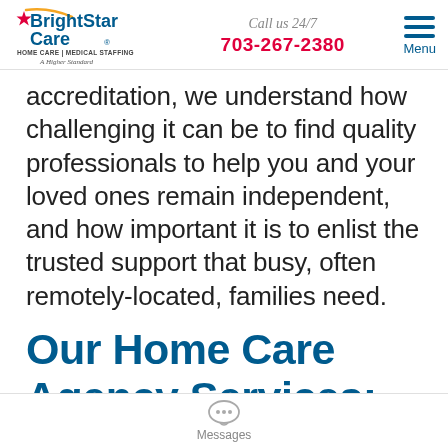BrightStar Care HOME CARE | MEDICAL STAFFING A Higher Standard | Call us 24/7 703-267-2380 | Menu
accreditation, we understand how challenging it can be to find quality professionals to help you and your loved ones remain independent, and how important it is to enlist the trusted support that busy, often remotely-located, families need.
Our Home Care Agency Services:
Messages